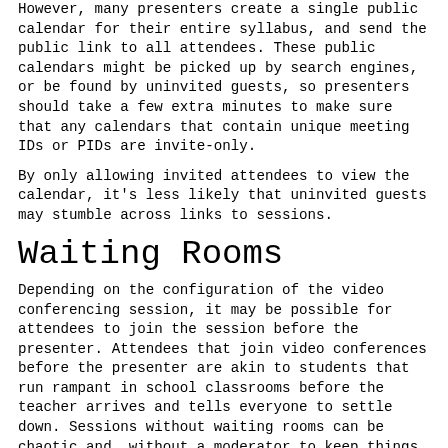However, many presenters create a single public calendar for their entire syllabus, and send the public link to all attendees. These public calendars might be picked up by search engines, or be found by uninvited guests, so presenters should take a few extra minutes to make sure that any calendars that contain unique meeting IDs or PIDs are invite-only.
By only allowing invited attendees to view the calendar, it's less likely that uninvited guests may stumble across links to sessions.
Waiting Rooms
Depending on the configuration of the video conferencing session, it may be possible for attendees to join the session before the presenter. Attendees that join video conferences before the presenter are akin to students that run rampant in school classrooms before the teacher arrives and tells everyone to settle down. Sessions without waiting rooms can be chaotic and, without a moderator to keep things in line, may quickly spiral out of control with inappropriate content.
Waiting rooms give attendees a place to wait until the presenter...